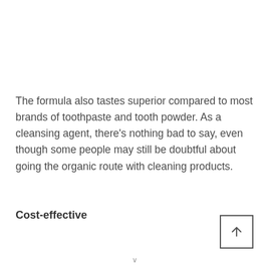The formula also tastes superior compared to most brands of toothpaste and tooth powder. As a cleansing agent, there's nothing bad to say, even though some people may still be doubtful about going the organic route with cleaning products.
Cost-effective